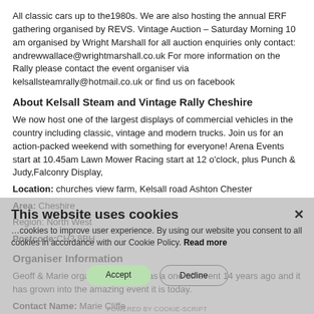All classic cars up to the1980s. We are also hosting the annual ERF gathering organised by REVS. Vintage Auction – Saturday Morning 10 am organised by Wright Marshall for all auction enquiries only contact: andrewwallace@wrightmarshall.co.uk For more information on the Rally please contact the event organiser via kelsallsteamrally@hotmail.co.uk or find us on facebook
About Kelsall Steam and Vintage Rally Cheshire
We now host one of the largest displays of commercial vehicles in the country including classic, vintage and modern trucks. Join us for an action-packed weekend with something for everyone! Arena Events start at 10.45am Lawn Mower Racing start at 12 o'clock, plus Punch & Judy,Falconry Display,
Location: churches view farm, Kelsall road Ashton Chester
Area: Cheshire
Region: North West
Postcode:CH3 8BH
Organiser Information
Geoff & Marie organised the rally as a one off event 14 years ago and it has grown into the amazing event it is today.
Contact Name: Marie Cliffe